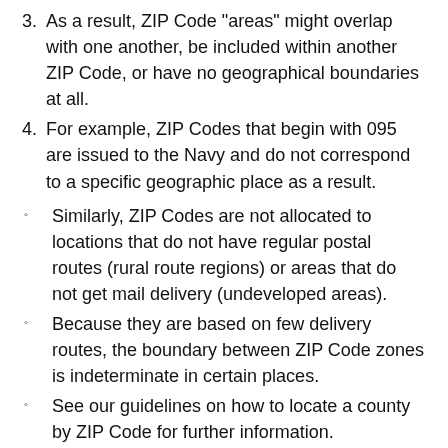3. As a result, ZIP Code "areas" might overlap with one another, be included within another ZIP Code, or have no geographical boundaries at all.
4. For example, ZIP Codes that begin with 095 are issued to the Navy and do not correspond to a specific geographic place as a result.
Similarly, ZIP Codes are not allocated to locations that do not have regular postal routes (rural route regions) or areas that do not get mail delivery (undeveloped areas).
Because they are based on few delivery routes, the boundary between ZIP Code zones is indeterminate in certain places.
See our guidelines on how to locate a county by ZIP Code for further information.